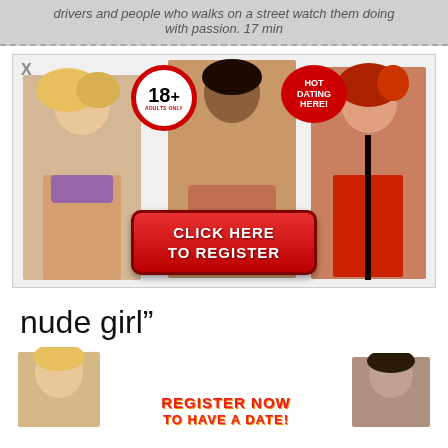drivers and people who walks on a street watch them doing with passion. 17 min
[Figure (photo): Adult dating advertisement banner with three women figures, 18+ badge, HOT DATING HERE badge, and CLICK HERE TO REGISTER red button]
nude girl”
[Figure (photo): Bottom adult dating advertisement with two women figures and REGISTER NOW TO HAVE A DATE text in red/orange]